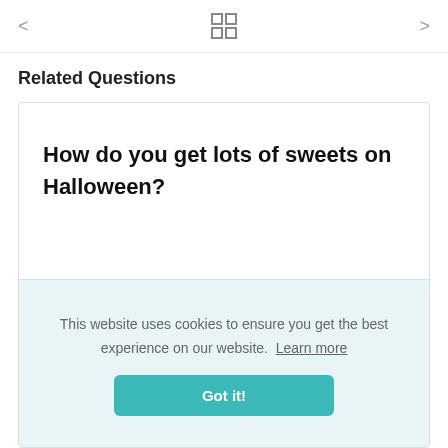< [grid icon] >
Related Questions
How do you get lots of sweets on Halloween?
This website uses cookies to ensure you get the best experience on our website. Learn more
Got it!